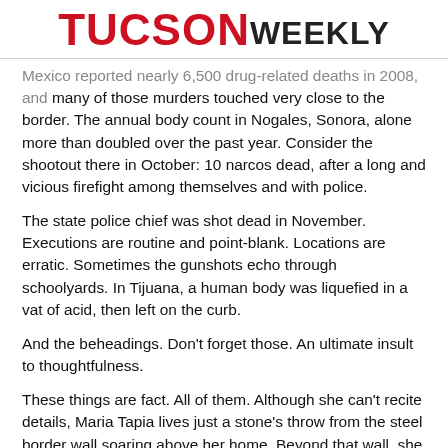TUCSON WEEKLY
Mexico reported nearly 6,500 drug-related deaths in 2008, and many of those murders touched very close to the border. The annual body count in Nogales, Sonora, alone more than doubled over the past year. Consider the shootout there in October: 10 narcos dead, after a long and vicious firefight among themselves and with police.
The state police chief was shot dead in November. Executions are routine and point-blank. Locations are erratic. Sometimes the gunshots echo through schoolyards. In Tijuana, a human body was liquefied in a vat of acid, then left on the curb.
And the beheadings. Don't forget those. An ultimate insult to thoughtfulness.
These things are fact. All of them. Although she can't recite details, Maria Tapia lives just a stone's throw from the steel border wall soaring above her home. Beyond that wall, she now